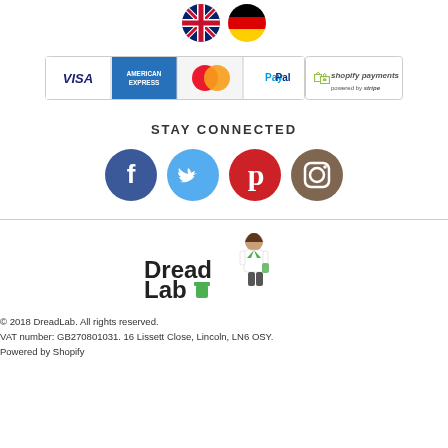[Figure (illustration): UK flag circle and German flag circle side by side]
[Figure (illustration): Payment method badges: VISA, American Express, MasterCard, PayPal, Shopify Payments powered by Stripe]
STAY CONNECTED
[Figure (illustration): Social media icons: Facebook, Twitter, Pinterest, Instagram in colored circles]
[Figure (logo): DreadLab logo with scientist character]
© 2018 DreadLab. All rights reserved.
VAT number: GB270801031. 16 Lissett Close, Lincoln, LN6 OSY.
Powered by Shopify